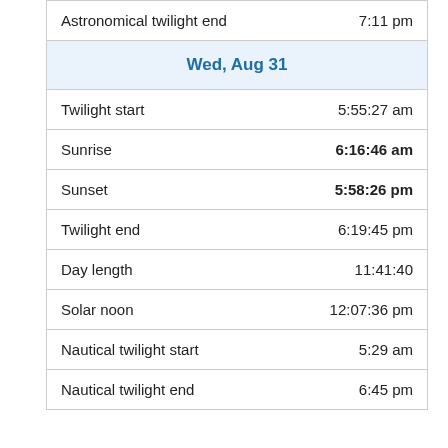| Event | Time |
| --- | --- |
| Astronomical twilight end | 7:11 pm |
| Wed, Aug 31 |  |
| Twilight start | 5:55:27 am |
| Sunrise | 6:16:46 am |
| Sunset | 5:58:26 pm |
| Twilight end | 6:19:45 pm |
| Day length | 11:41:40 |
| Solar noon | 12:07:36 pm |
| Nautical twilight start | 5:29 am |
| Nautical twilight end | 6:45 pm |